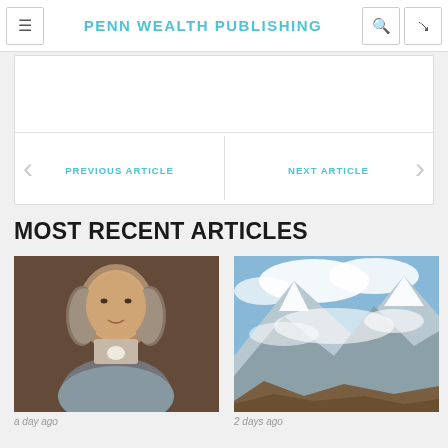PENN WEALTH PUBLISHING
PREVIOUS ARTICLE
NEXT ARTICLE
MOST RECENT ARTICLES
[Figure (photo): Portrait painting of Benjamin Franklin]
a day ago
[Figure (photo): Mountain landscape with clouds and snow-capped peaks]
2 days ago